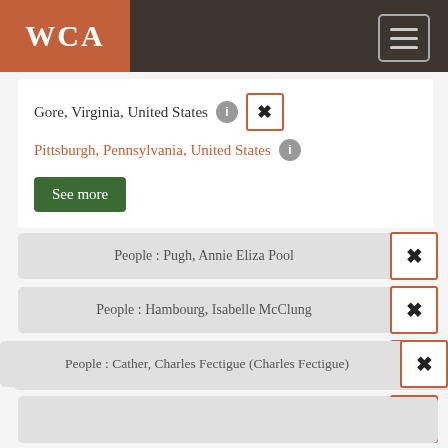WCA
Gore, Virginia, United States
Pittsburgh, Pennsylvania, United States
See more
People : Pugh, Annie Eliza Pool
People : Hambourg, Isabelle McClung
Creator : Willa Cather
People : Cather, Charles Fectigue (Charles Fectigue)
People : Pugh, Smith Jonathan
Places : Gore, Virginia, United States